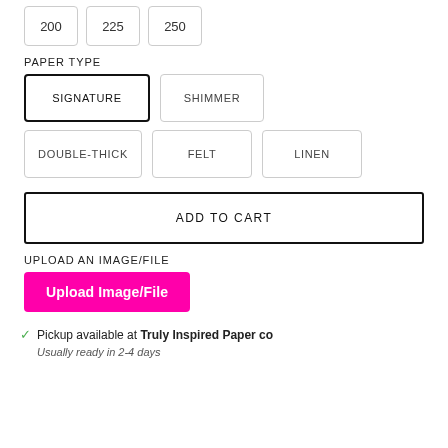200
225
250
PAPER TYPE
SIGNATURE
SHIMMER
DOUBLE-THICK
FELT
LINEN
ADD TO CART
UPLOAD AN IMAGE/FILE
Upload Image/File
Pickup available at Truly Inspired Paper co
Usually ready in 2-4 days